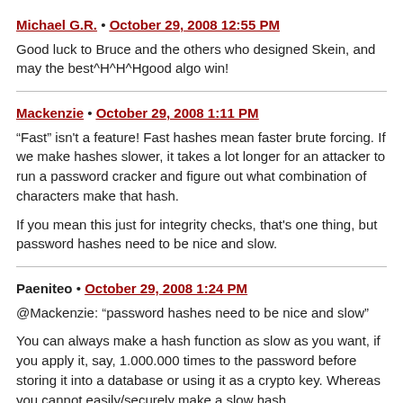Michael G.R. • October 29, 2008 12:55 PM
Good luck to Bruce and the others who designed Skein, and may the best^H^H^Hgood algo win!
Mackenzie • October 29, 2008 1:11 PM
“Fast” isn't a feature! Fast hashes mean faster brute forcing. If we make hashes slower, it takes a lot longer for an attacker to run a password cracker and figure out what combination of characters make that hash.

If you mean this just for integrity checks, that's one thing, but password hashes need to be nice and slow.
Paeniteo • October 29, 2008 1:24 PM
@Mackenzie: “password hashes need to be nice and slow”

You can always make a hash function as slow as you want, if you apply it, say, 1.000.000 times to the password before storing it into a database or using it as a crypto key. Whereas you cannot easily/securely make a slow hash